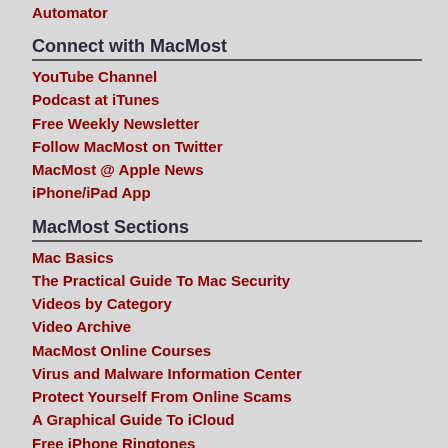Automator
Connect with MacMost
YouTube Channel
Podcast at iTunes
Free Weekly Newsletter
Follow MacMost on Twitter
MacMost @ Apple News
iPhone/iPad App
MacMost Sections
Mac Basics
The Practical Guide To Mac Security
Videos by Category
Video Archive
MacMost Online Courses
Virus and Malware Information Center
Protect Yourself From Online Scams
A Graphical Guide To iCloud
Free iPhone Ringtones
Recommended Products